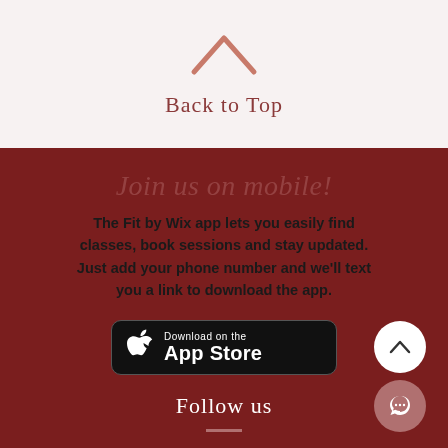[Figure (illustration): Upward chevron arrow in salmon/rose color]
Back to Top
Join us on mobile!
The Fit by Wix app lets you easily find classes, book sessions and stay updated. Just add your phone number and we'll text you a link to download the app.
[Figure (illustration): Download on the App Store button - black rounded rectangle with Apple logo]
Follow us